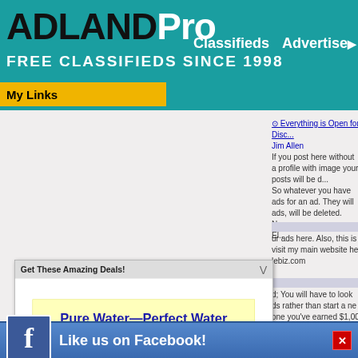ADLANDPro FREE CLASSIFIEDS SINCE 1998 | Classifieds | Advertise
My Links
Everything is Open for Disc... Jim Allen
If you post here without a profile with image your posts will be d... So whatever you have... ads for an ad. They will... ads, will be deleted. Now El..
[Figure (screenshot): Popup advertisement modal with title 'Get These Amazing Deals!' containing an ad for 'Pure Water—Perfect Water Purification System! Eco-Friendly!' with body text and a Facebook like bar at the bottom.]
Pure Water—Perfect Water Purification System! Eco-Friendly!
Always have Pure Water free of chemicals, bacteria, and viruses all in the comfort of your homeWith a glass filtration system, there is no metallic or plastic tasteCleaner than bottled water without the plastic waste introduced into the environmentFor more details go here! https://5m63.com/best-drinking-water-purification-
Like us on Facebook!